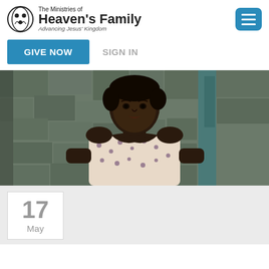The Ministries of Heaven's Family — Advancing Jesus' Kingdom
GIVE NOW   SIGN IN
[Figure (photo): Portrait of a young African woman wearing a floral dress, standing against a stone wall.]
17
May